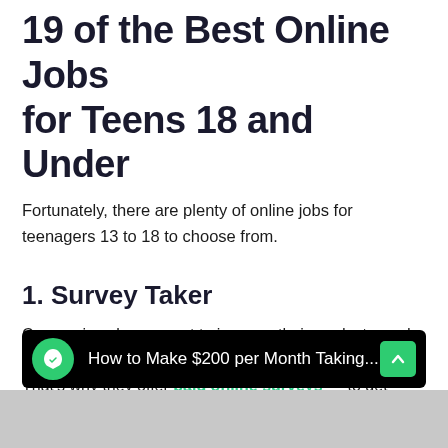19 of the Best Online Jobs for Teens 18 and Under
Fortunately, there are plenty of online jobs for teenagers 13 to 18 to choose from.
1. Survey Taker
Companies always want to improve their products, and they look for direct feedback from consumers to do so. That's why they offer paid online surveys — to get valuable insight from existing and potential customers. There's constant demand for this type of work, which makes it one of the best online jobs for teens.
[Figure (screenshot): Video bar with black background showing green leaf logo circle, text 'How to Make $200 per Month Taking...' and a green arrow-up button on the right]
[Figure (photo): Bottom partial image strip, appears to show people, partially cropped]